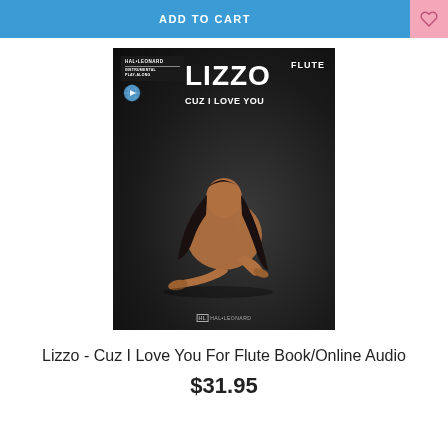ADD TO CART
[Figure (illustration): Book cover for 'Lizzo - Cuz I Love You' for Flute, published by Hal Leonard Instrumental Play-Along. Dark background with a person sitting, text showing LIZZO, CUZ I LOVE YOU, and FLUTE label.]
Lizzo - Cuz I Love You For Flute Book/Online Audio
$31.95